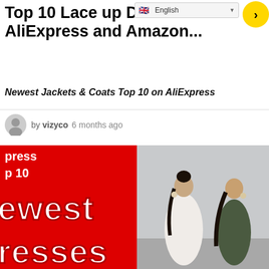English
Top 10 Lace up Dress Sets on AliExpress and Amazon...
Newest Jackets & Coats Top 10 on AliExpress
by vizyco 6 months ago
[Figure (photo): Red promotional graphic with text 'press', 'p 10', 'ewest', 'resses' overlaid on image of two women in spaghetti strap dresses (white and olive green), with view count 61, retweet 0, share 147]